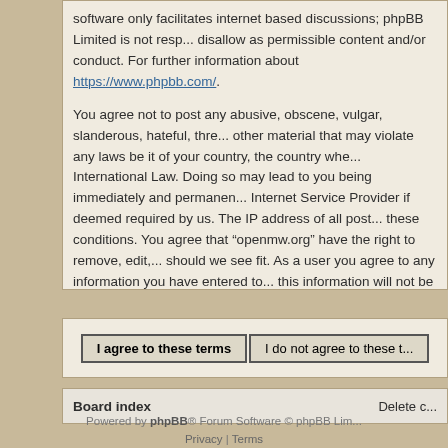software only facilitates internet based discussions; phpBB Limited is not resp... disallow as permissible content and/or conduct. For further information about https://www.phpbb.com/.
You agree not to post any abusive, obscene, vulgar, slanderous, hateful, thr... other material that may violate any laws be it of your country, the country whe... International Law. Doing so may lead to you being immediately and permanen... Internet Service Provider if deemed required by us. The IP address of all post... these conditions. You agree that “openmw.org” have the right to remove, edit,... should we see fit. As a user you agree to any information you have entered to... this information will not be disclosed to any third party without your consent, n... shall be held responsible for any hacking attempt that may lead to the data be...
I agree to these terms | I do not agree to these t...
Board index Delete c...
Powered by phpBB® Forum Software © phpBB Lim... Privacy | Terms